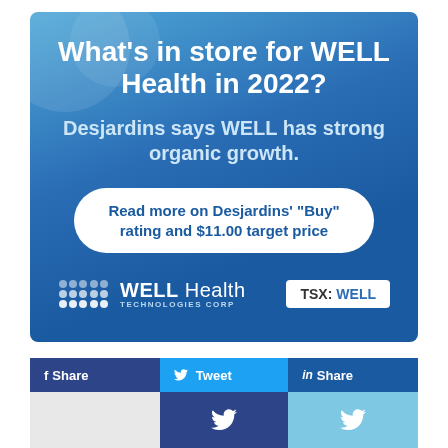[Figure (infographic): WELL Health Technologies Corp promotional banner on blue gradient background. Headline: What’s in store for WELL Health in 2022? Subheadline: Desjardins says WELL has strong organic growth. CTA button: Read more on Desjardins' “Buy” rating and $11.00 target price. WELL Health Technologies Corp logo on left, TSX: WELL badge on right.]
f Share
Tweet
in Share